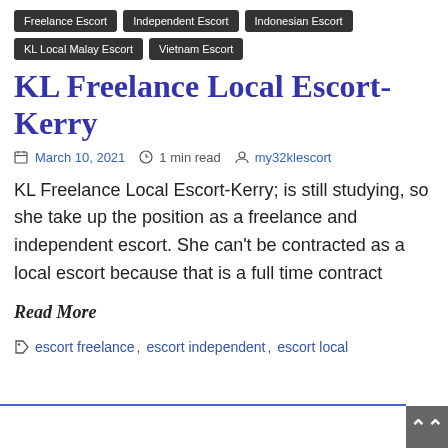Freelance Escort | Independent Escort | Indonesian Escort | KL Local Malay Escort | Vietnam Escort
KL Freelance Local Escort-Kerry
March 10, 2021  1 min read  my32klescort
KL Freelance Local Escort-Kerry; is still studying, so she take up the position as a freelance and independent escort. She can't be contracted as a local escort because that is a full time contract
Read More
escort freelance, escort independent, escort local